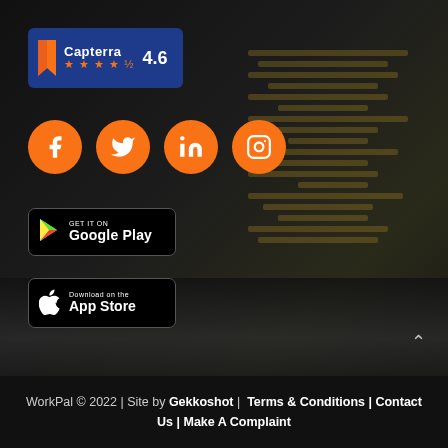[Figure (logo): Capterra rating badge showing 4.6 stars on blue background]
[Figure (infographic): Four orange circular social media icons: Facebook, Twitter, LinkedIn, Instagram]
[Figure (logo): Google Play store download badge, black rounded rectangle]
[Figure (logo): Apple App Store download badge, black rounded rectangle]
WorkPal © 2022 | Site by Gekkoshot | Terms & Conditions | Contact Us | Make A Complaint